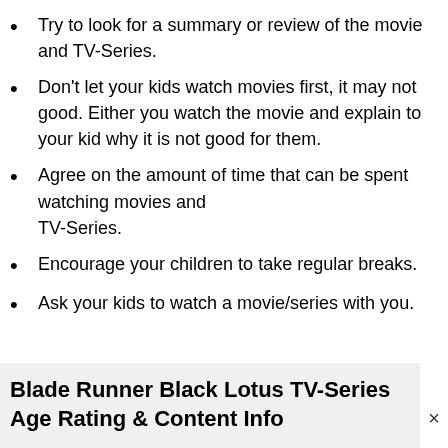Try to look for a summary or review of the movie and TV-Series.
Don't let your kids watch movies first, it may not good. Either you watch the movie and explain to your kid why it is not good for them.
Agree on the amount of time that can be spent watching movies and TV-Series.
Encourage your children to take regular breaks.
Ask your kids to watch a movie/series with you.
Blade Runner Black Lotus TV-Series Age Rating & Content Info